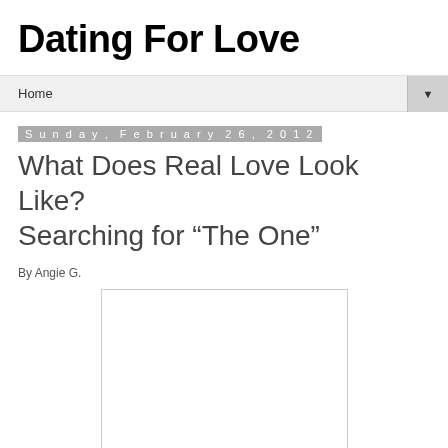Dating For Love
Home
Sunday, February 26, 2012
What Does Real Love Look Like? Searching for “The One”
By Angie G.
[Figure (other): White rectangular image placeholder]